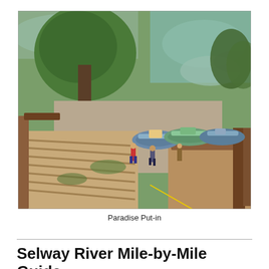[Figure (photo): Aerial view of Paradise Put-in on the Selway River, showing wooden boat ramp/stairs leading down to a gravel bar where several inflatable rafts are loaded and people are preparing to launch. Large trees and rocky river visible in background.]
Paradise Put-in
Selway River Mile-by-Mile Guide